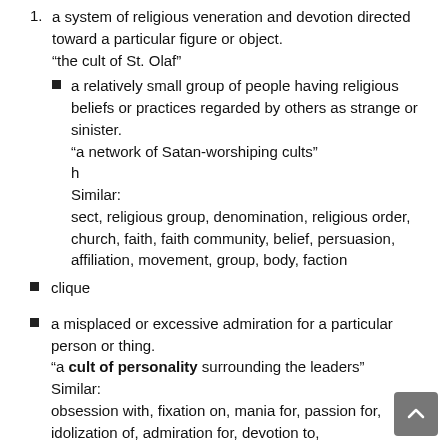1. a system of religious veneration and devotion directed toward a particular figure or object. “the cult of St. Olaf”
a relatively small group of people having religious beliefs or practices regarded by others as strange or sinister. “a network of Satan-worshiping cults”
h
Similar:
sect, religious group, denomination, religious order, church, faith, faith community, belief, persuasion, affiliation, movement, group, body, faction
clique
a misplaced or excessive admiration for a particular person or thing. “a cult of personality surrounding the leaders”
Similar:
obsession with, fixation on, mania for, passion for, idolization of, admiration for, devotion to,